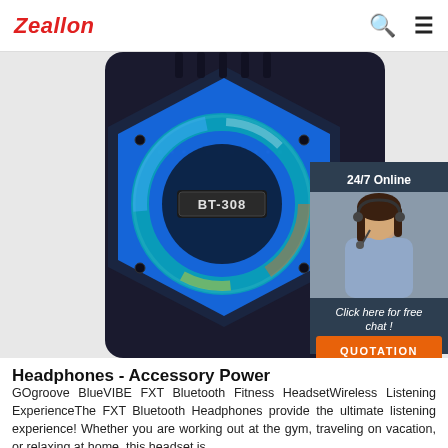Zeallon
[Figure (photo): Blue Bluetooth speaker BT-308 with LED ring light, dark body, hexagonal grill pattern. Overlay shows a 24/7 Online chat widget with a smiling woman wearing a headset, 'Click here for free chat!' text, and an orange QUOTATION button.]
Headphones - Accessory Power
GOgroove BlueVIBE FXT Bluetooth Fitness HeadsetWireless Listening ExperienceThe FXT Bluetooth Headphones provide the ultimate listening experience! Whether you are working out at the gym, traveling on vacation, or relaxing at home, this headset is